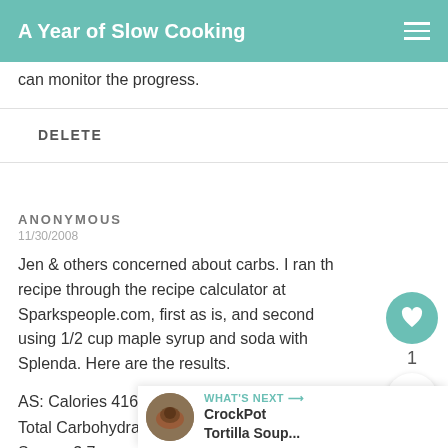A Year of Slow Cooking
can monitor the progress.
DELETE
ANONYMOUS
11/30/2008

Jen & others concerned about carbs. I ran the recipe through the recipe calculator at Sparkspeople.com, first as is, and second using 1/2 cup maple syrup and soda with Splenda. Here are the results.

AS: Calories 416.1
Total Carbohydrate 40.4 g Dietary F... g
Sugars 3.7 g
Protein 55.3 g